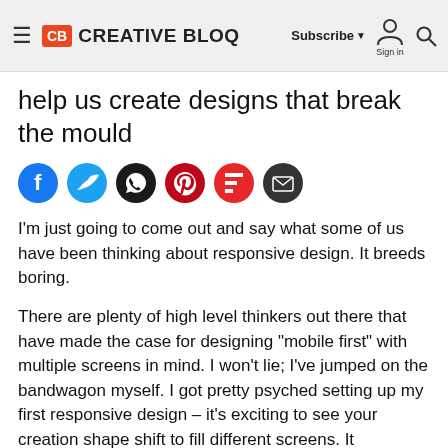CB CREATIVE BLOQ | Subscribe ▼ Sign in 🔍
help us create designs that break the mould
[Figure (other): Social sharing icons row: Facebook (blue), Twitter (light blue), WhatsApp (dark), Pinterest (red), Flipboard (red), Email (dark)]
I'm just going to come out and say what some of us have been thinking about responsive design. It breeds boring.
There are plenty of high level thinkers out there that have made the case for designing "mobile first" with multiple screens in mind. I won't lie; I've jumped on the bandwagon myself. I got pretty psyched setting up my first responsive design – it's exciting to see your creation shape shift to fill different screens. It